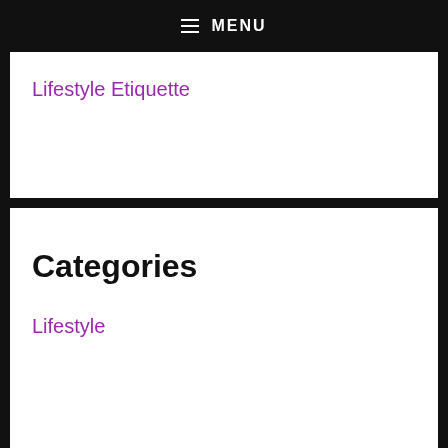≡ MENU
Lifestyle Etiquette
Categories
Lifestyle
About Us